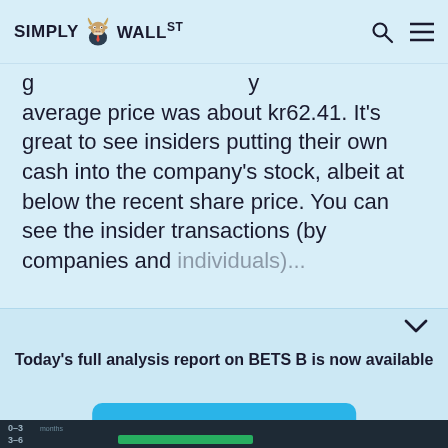SIMPLY WALL ST
average price was about kr62.41. It's great to see insiders putting their own cash into the company's stock, albeit at below the recent share price. You can see the insider transactions (by companies and individuals) over the last year in the chart below.
Today's full analysis report on BETS B is now available
View Free Stock Report
[Figure (other): Dark chart area showing 0-3 months and 3-6 months rows with a green bar indicator]